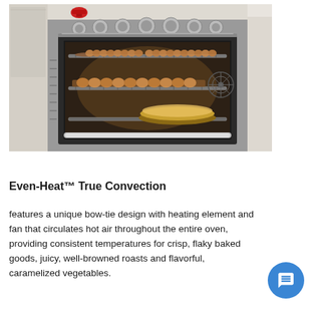[Figure (photo): Professional stainless steel range oven with open door showing multiple racks loaded with pastries, muffins, and a pie. Burner control knobs visible on top. Red KitchenAid stand mixer visible on shelf in background.]
Even-Heat™ True Convection
features a unique bow-tie design with heating element and fan that circulates hot air throughout the entire oven, providing consistent temperatures for crisp, flaky baked goods, juicy, well-browned roasts and flavorful, caramelized vegetables.